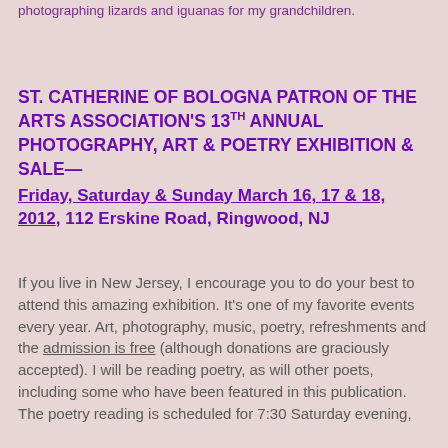photographing lizards and iguanas for my grandchildren.
ST. CATHERINE OF BOLOGNA PATRON OF THE ARTS ASSOCIATION'S 13TH ANNUAL PHOTOGRAPHY, ART & POETRY EXHIBITION & SALE—
Friday, Saturday & Sunday March 16, 17 & 18, 2012, 112 Erskine Road, Ringwood, NJ
If you live in New Jersey, I encourage you to do your best to attend this amazing exhibition. It's one of my favorite events every year. Art, photography, music, poetry, refreshments and the admission is free (although donations are graciously accepted). I will be reading poetry, as will other poets, including some who have been featured in this publication. The poetry reading is scheduled for 7:30 Saturday evening,